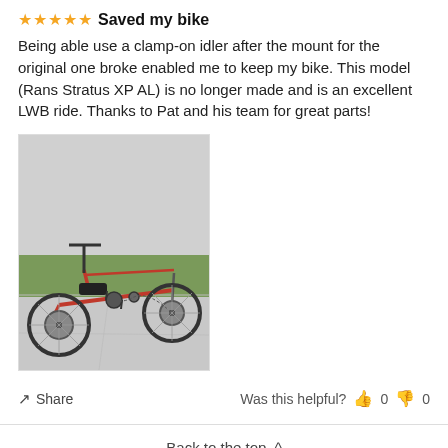★★★★★ Saved my bike
Being able use a clamp-on idler after the mount for the original one broke enabled me to keep my bike. This model (Rans Stratus XP AL) is no longer made and is an excellent LWB ride. Thanks to Pat and his team for great parts!
[Figure (photo): Photo of a red recumbent bicycle (long wheelbase) with large front and rear wheels, parked on a concrete surface near a grassy area.]
Share   Was this helpful?  👍 0  👎 0
Back to the top ^
Email address   SUBSCRIBE